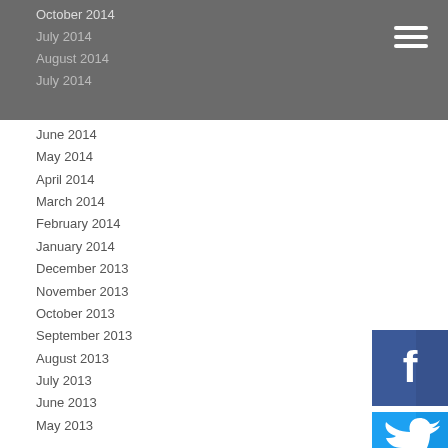October 2014 / July 2014 / August 2014 / July 2014
June 2014
May 2014
April 2014
March 2014
February 2014
January 2014
December 2013
November 2013
October 2013
September 2013
August 2013
July 2013
June 2013
May 2013
Categories
All
Andy Haldance
Balance Of Payments
Balance Of Payments Crisis
Bank Of England
Base Rates
Bernanke
Bond Market Bubble
Budget
[Figure (illustration): Facebook social icon - blue square with white f logo]
[Figure (illustration): Twitter social icon - cyan square with white bird logo]
[Figure (illustration): Pinterest social icon - red square with white p logo]
[Figure (illustration): LinkedIn social icon - blue square with white in logo]
[Figure (illustration): Instagram social icon - pink/magenta square with white camera logo]